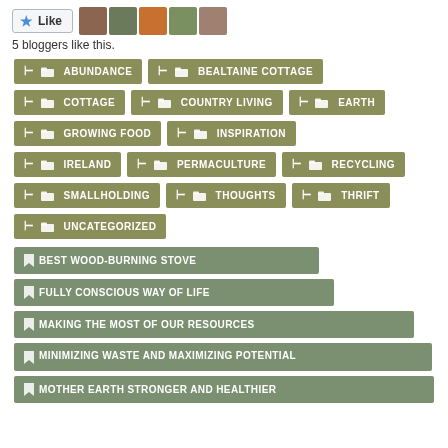[Figure (other): Like button with star icon and 5 blogger avatar photos]
5 bloggers like this.
ABUNDANCE
BEALTAINE COTTAGE
COTTAGE
COUNTRY LIVING
EARTH
GROWING FOOD
INSPIRATION
IRELAND
PERMACULTURE
RECYCLING
SMALLHOLDING
THOUGHTS
THRIFT
UNCATEGORIZED
BEST WOOD-BURNING STOVE
FULLY CONSCIOUS WAY OF LIFE
MAKING THE MOST OF OUR RESOURCES
MINIMIZING WASTE AND MAXIMIZING POTENTIAL
MOTHER EARTH STRONGER AND HEALTHIER